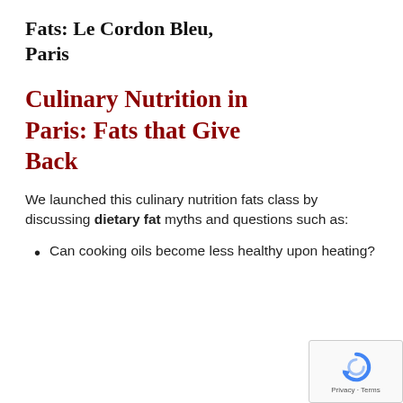Fats: Le Cordon Bleu, Paris
Culinary Nutrition in Paris: Fats that Give Back
We launched this culinary nutrition fats class by discussing dietary fat myths and questions such as:
Can cooking oils become less healthy upon heating?
[Figure (logo): Google reCAPTCHA logo with privacy and terms text]